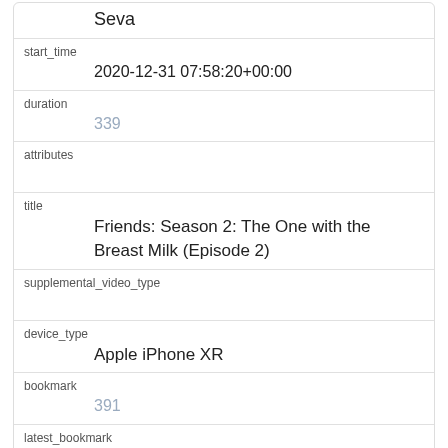Seva
start_time
2020-12-31 07:58:20+00:00
duration
339
attributes
title
Friends: Season 2: The One with the Breast Milk (Episode 2)
supplemental_video_type
device_type
Apple iPhone XR
bookmark
391
latest_bookmark
country
RU (Russian Federation)